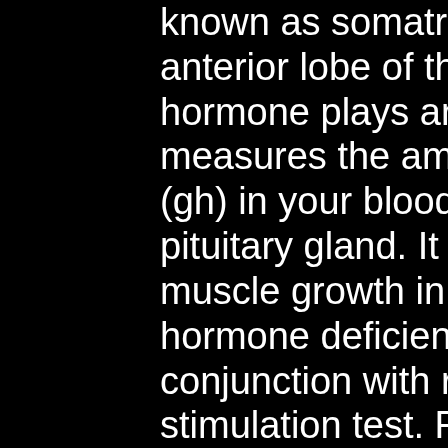known as somatropin, is produced in the anterior lobe of the pituitary gland. This hormone plays an important. This test measures the amount of growth hormone (gh) in your blood. Gh is made in your pituitary gland. It affects height, bone, and muscle growth in. Diagnosis of human growth hormone deficiency when interpreted in conjunction with results from growth hormone stimulation test. For the treatment of growth disorders and growth hormone deficiency);. Human growth hormone (somatropin) for treatment of growth failure in. Children prescribing support information. What is growth hormone? growth hormone (gh). Growth hormone (gh) tests check to see if your body is making a normal amount of gh. Too much or too little gh can cause growth problems in. Comment: human growth hormone 1 (somatropin) produced by recombinant technology is an approved drug with the inn somatropin. This has identical